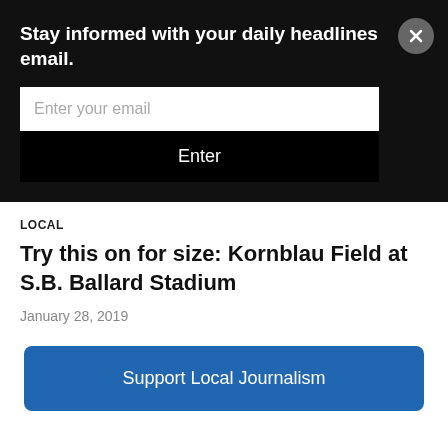Stay informed with your daily headlines email.
Enter your email
Enter
LOCAL
Try this on for size: Kornblau Field at S.B. Ballard Stadium
January 28, 2019
Support Local Journalism